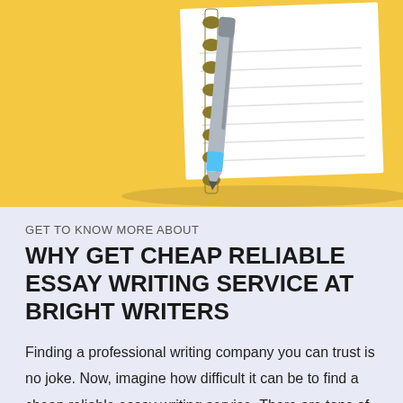[Figure (illustration): Illustration of a notebook/notepad with spiral binding and a pen/pencil on a yellow/golden background]
GET TO KNOW MORE ABOUT
WHY GET CHEAP RELIABLE ESSAY WRITING SERVICE AT BRIGHT WRITERS
Finding a professional writing company you can trust is no joke. Now, imagine how difficult it can be to find a cheap reliable essay writing service. There are tons of companies offering writing